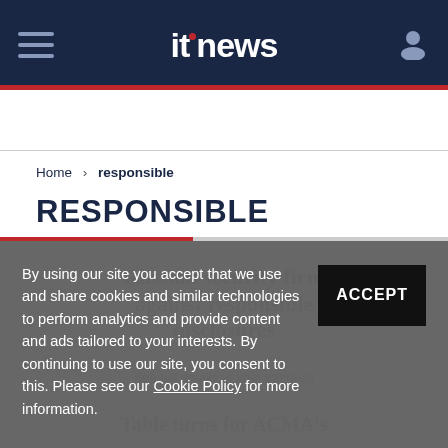itnews
Home > responsible
RESPONSIBLE
By using our site you accept that we use and share cookies and similar technologies to perform analytics and provide content and ads tailored to your interests. By continuing to use our site, you consent to this. Please see our Cookie Policy for more information.